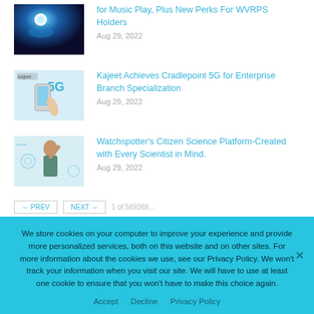for Music Play, Plus New Perks For WVRPS Holders
Aug 29, 2022
[Figure (photo): Dark blue tech background with bright light, possibly representing music or AI technology]
Kajeet Achieves Cradlepoint 5G for Enterprise Branch Specialization
Aug 29, 2022
[Figure (photo): Hand holding a smartphone with 5G graphic, Kajeet branding visible]
Watchspotter's Citizen Science Platform-Created with Every Scientist in Mind.
Aug 29, 2022
[Figure (photo): Woman with finger raised, wevio branding visible in background]
PREV   NEXT   1 of 589268
We store cookies on your computer to improve your experience and provide more personalized services, both on this website and on other sites. For more information about the cookies we use, see our Privacy Policy. We won't track your information when you visit our site. We will have to use at least one cookie to ensure that you won't have to make this choice again.
Accept   Decline   Privacy Policy